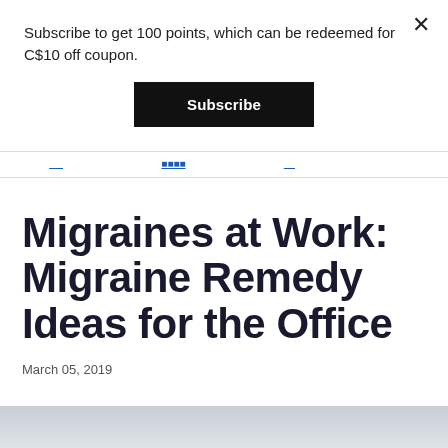Subscribe to get 100 points, which can be redeemed for C$10 off coupon.
Subscribe
Migraines at Work: Migraine Remedy Ideas for the Office
March 05, 2019
[Figure (photo): Photo of a person, partially visible at bottom of page]